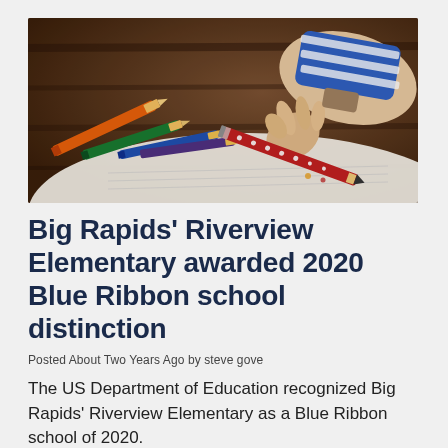[Figure (photo): Close-up photo of a child's hand holding a red polka-dot pencil, writing on paper, with colorful pencils (orange, green, blue, purple) scattered on a dark wooden desk.]
Big Rapids' Riverview Elementary awarded 2020 Blue Ribbon school distinction
Posted About Two Years Ago by steve gove
The US Department of Education recognized Big Rapids' Riverview Elementary as a Blue Ribbon school of 2020.